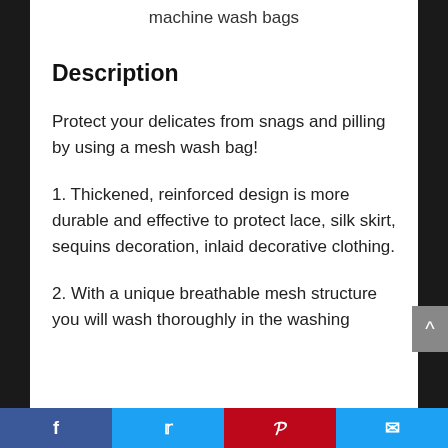machine wash bags
Description
Protect your delicates from snags and pilling by using a mesh wash bag!
1. Thickened, reinforced design is more durable and effective to protect lace, silk skirt, sequins decoration, inlaid decorative clothing.
2. With a unique breathable mesh structure you will wash thoroughly in the washing